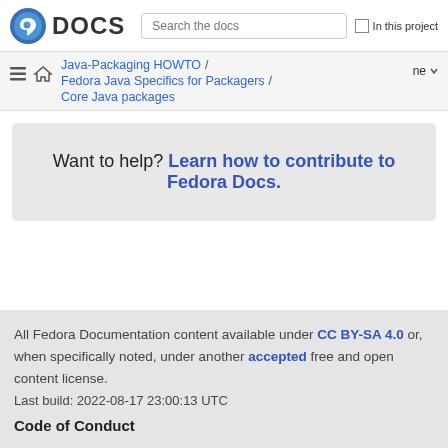DOCS  Search the docs  In this project
Java-Packaging HOWTO / Fedora Java Specifics for Packagers / Core Java packages  ne
Want to help? Learn how to contribute to Fedora Docs.
All Fedora Documentation content available under CC BY-SA 4.0 or, when specifically noted, under another accepted free and open content license.
Last build: 2022-08-17 23:00:13 UTC
Code of Conduct